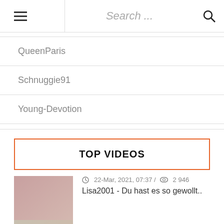Search ...
QueenParis
Schnuggie91
Young-Devotion
TOP VIDEOS
22-Mar, 2021, 07:37 / 2 946
Lisa2001 - Du hast es so gewollt..